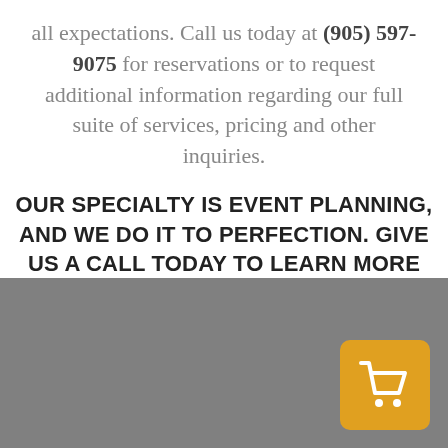all expectations. Call us today at (905) 597-9075 for reservations or to request additional information regarding our full suite of services, pricing and other inquiries.
OUR SPECIALTY IS EVENT PLANNING, AND WE DO IT TO PERFECTION. GIVE US A CALL TODAY TO LEARN MORE ABOUT WORKING WITH AN EVENT PLANNER IN OSHAWA.
[Figure (other): Gray footer bar with a yellow/gold shopping cart button in the bottom-right corner]